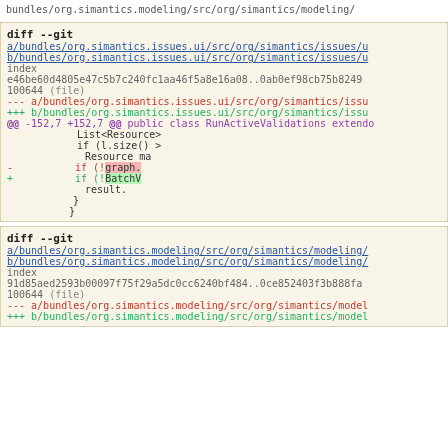bundles/org.simantics.modeling/src/org/simantics/modeling/
diff --git
a/bundles/org.simantics.issues.ui/src/org/simantics/issues/u
b/bundles/org.simantics.issues.ui/src/org/simantics/issues/u
index
e46be60d4805e47c5b7c240fc1aa46f5a8e16a08..0ab0ef98cb75b8249
100644 (file)
--- a/bundles/org.simantics.issues.ui/src/org/simantics/issu
+++ b/bundles/org.simantics.issues.ui/src/org/simantics/issu
@@ -152,7 +152,7 @@ public class RunActiveValidations extendo
                                List<Resource>
                                if (l.size() >
                                  Resource ma
-                                  if (!graph.
+                                  if (!BatchV
                                  result.
                                }
                              }
diff --git
a/bundles/org.simantics.modeling/src/org/simantics/modeling/
b/bundles/org.simantics.modeling/src/org/simantics/modeling/
index
91d85aed2593b00097f75f29a5dc0cc6240bf484..0ce852403f3b888fa
100644 (file)
--- a/bundles/org.simantics.modeling/src/org/simantics/model
+++ b/bundles/org.simantics.modeling/src/org/simantics/model